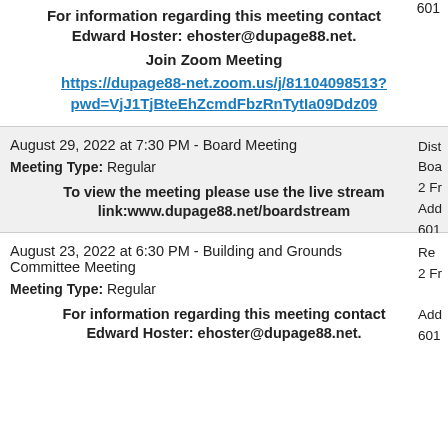For information regarding this meeting contact Edward Hoster: ehoster@dupage88.net. Join Zoom Meeting
https://dupage88-net.zoom.us/j/81104098513?pwd=VjJ1TjBteEhZcmdFbzRnTytIa09Ddz09
August 29, 2022 at 7:30 PM - Board Meeting
Meeting Type: Regular
To view the meeting please use the live stream link:www.dupage88.net/boardstream
601
August 23, 2022 at 6:30 PM - Building and Grounds Committee Meeting
Meeting Type: Regular
For information regarding this meeting contact Edward Hoster: ehoster@dupage88.net.